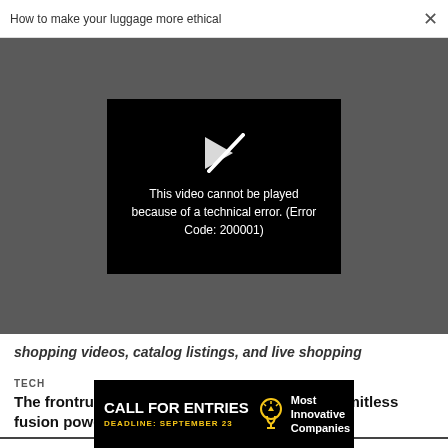How to make your luggage more ethical  ✕
[Figure (screenshot): Video player showing error: black box with broken play icon and message 'This video cannot be played because of a technical error. (Error Code: 200001)' on a dark gray background]
shopping videos, catalog listings, and live shopping
TECH
The frontrunners in the trillion-dollar race for limitless fusion power
[Figure (infographic): Advertisement banner: black background with 'CALL FOR ENTRIES' in bold white, 'DEADLINE: SEPTEMBER 23' in yellow, lightbulb icon, and 'Most Innovative Companies' in white text]